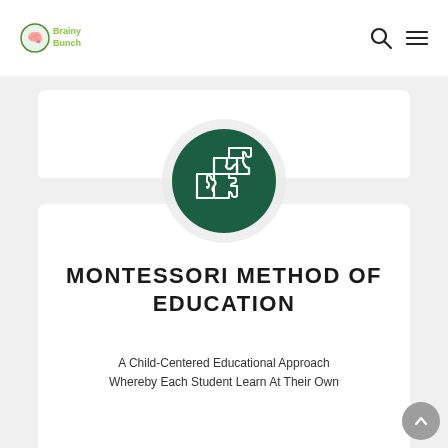BrainyBunch
[Figure (illustration): Dark green circle with white puzzle pieces icon, surrounded by a light gray drop-shadow circle]
MONTESSORI METHOD OF EDUCATION
A Child-Centered Educational Approach Whereby Each Student Learn At Their Own